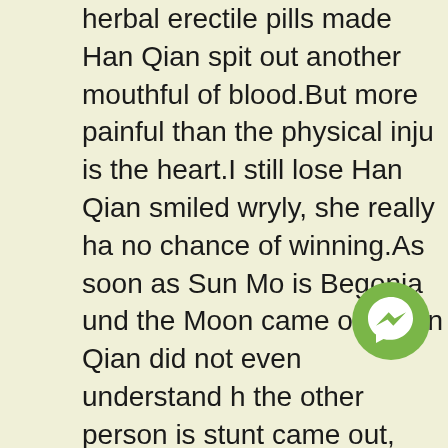herbal erectile pills made Han Qian spit out another mouthful of blood.But more painful than the physical inju is the heart.I still lose Han Qian smiled wryly, she really ha no chance of winning.As soon as Sun Mo is Begonia und the Moon came out, Han Qian did not even understand h the other person is stunt came out, and what happened, was hit with a knife.
Sun Mo is surrounded by so many beauties every day, an his appetite has grown long, so can he still like you Teach take the chief and crush her Tantai Yutang waved his sm fist.
Congratulations, you have obtained the calligraphy thin g body, proficiency, specialization level.
What is the effect, do you need me to tell me glanced around.At the beginning, in order to promote the giant is medicine bag, there were free advertisements an